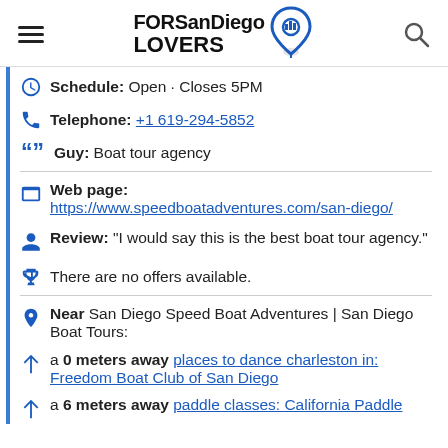FORSanDiego LOVERS
Schedule: Open · Closes 5PM
Telephone: +1 619-294-5852
Guy: Boat tour agency
Web page: https://www.speedboatadventures.com/san-diego/
Review: "I would say this is the best boat tour agency."
There are no offers available.
Near San Diego Speed Boat Adventures | San Diego Boat Tours:
a 0 meters away places to dance charleston in: Freedom Boat Club of San Diego
a 6 meters away paddle classes: California Paddle